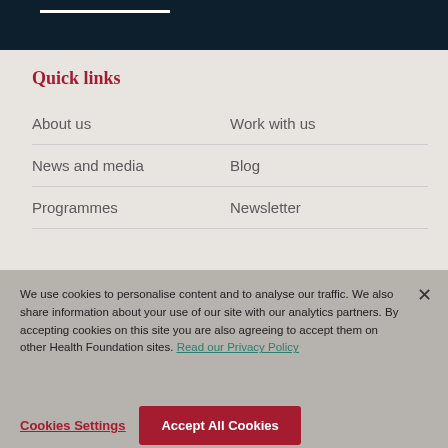Quick links
About us
Work with us
News and media
Blog
Programmes
Newsletter
We use cookies to personalise content and to analyse our traffic. We also share information about your use of our site with our analytics partners. By accepting cookies on this site you are also agreeing to accept them on other Health Foundation sites. Read our Privacy Policy
Cookies Settings
Accept All Cookies